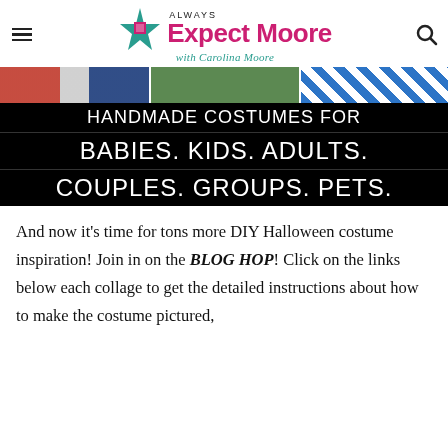Always Expect Moore with Carolina Moore
[Figure (screenshot): Three image strip showing costumes: striped red/white/blue, green background, teal geometric pattern]
HANDMADE COSTUMES FOR BABIES. KIDS. ADULTS. COUPLES. GROUPS. PETS.
And now it’s time for tons more DIY Halloween costume inspiration! Join in on the BLOG HOP! Click on the links below each collage to get the detailed instructions about how to make the costume pictured,